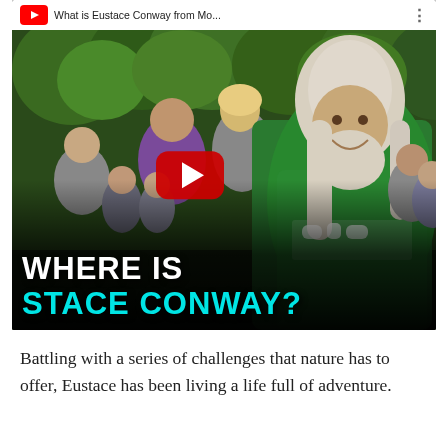[Figure (screenshot): YouTube video thumbnail showing a man with long white hair and beard wearing a green 'Homesteader' t-shirt, smiling, surrounded by a group of people in a forested outdoor setting. A red YouTube play button is centered on the image. White bold text at the bottom reads 'WHERE IS' and cyan bold text reads 'STACE CONWAY?'. The video top bar shows the YouTube logo and partial title 'What is Eustace Conway from Mo...'.]
Battling with a series of challenges that nature has to offer, Eustace has been living a life full of adventure.